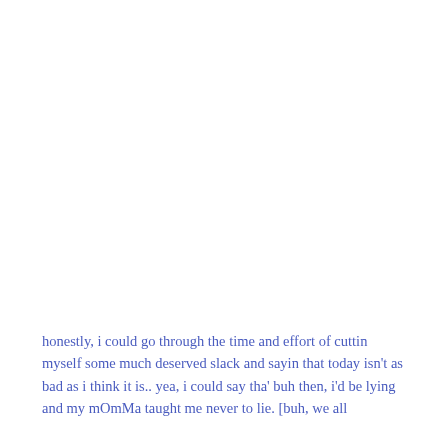honestly, i could go through the time and effort of cuttin myself some much deserved slack and sayin that today isn't as bad as i think it is.. yea, i could say tha' buh then, i'd be lying and my mOmMa taught me never to lie. [buh, we all